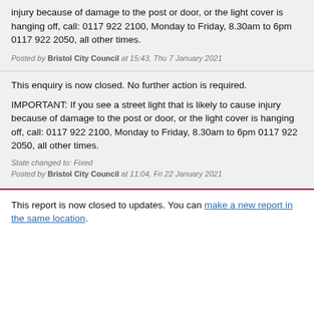injury because of damage to the post or door, or the light cover is hanging off, call: 0117 922 2100, Monday to Friday, 8.30am to 6pm 0117 922 2050, all other times.
Posted by Bristol City Council at 15:43, Thu 7 January 2021
This enquiry is now closed. No further action is required.
IMPORTANT: If you see a street light that is likely to cause injury because of damage to the post or door, or the light cover is hanging off, call: 0117 922 2100, Monday to Friday, 8.30am to 6pm 0117 922 2050, all other times.
State changed to: Fixed
Posted by Bristol City Council at 11:04, Fri 22 January 2021
This report is now closed to updates. You can make a new report in the same location.